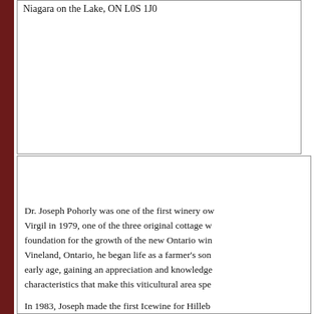Niagara on the Lake, ON L0S 1J0
Dr. Joseph Pohorly was one of the first winery owners in Virgil in 1979, one of the three original cottage wineries that laid the foundation for the growth of the new Ontario wine industry. Born in Vineland, Ontario, he began life as a farmer's son and learned to farm at early age, gaining an appreciation and knowledge of the special characteristics that make this viticultural area special.

In 1983, Joseph made the first Icewine for Hillebrand and was one of the Icewine pioneers. By the following year, almost every winery was freezing vines to create the luscious nectar that would become Canada's gift to wine.

The winery was sold
Winemaker: Joseph Pohorly, Kathy Reid
Philosophy: To produce world class wines at an a